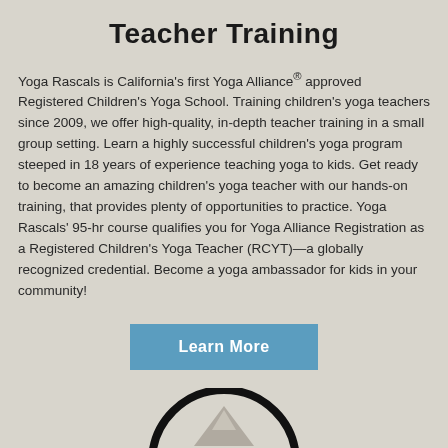Teacher Training
Yoga Rascals is California's first Yoga Alliance® approved Registered Children's Yoga School. Training children's yoga teachers since 2009, we offer high-quality, in-depth teacher training in a small group setting. Learn a highly successful children's yoga program steeped in 18 years of experience teaching yoga to kids. Get ready to become an amazing children's yoga teacher with our hands-on training, that provides plenty of opportunities to practice. Yoga Rascals' 95-hr course qualifies you for Yoga Alliance Registration as a Registered Children's Yoga Teacher (RCYT)—a globally recognized credential. Become a yoga ambassador for kids in your community!
[Figure (logo): RCYS logo — circular badge with a mountain/person silhouette at top and 'RCYS' text in bold at center, black on light background]